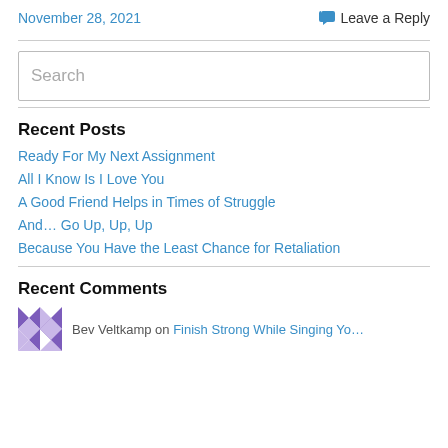November 28, 2021
💬 Leave a Reply
Search
Recent Posts
Ready For My Next Assignment
All I Know Is I Love You
A Good Friend Helps in Times of Struggle
And… Go Up, Up, Up
Because You Have the Least Chance for Retaliation
Recent Comments
Bev Veltkamp on Finish Strong While Singing Yo…